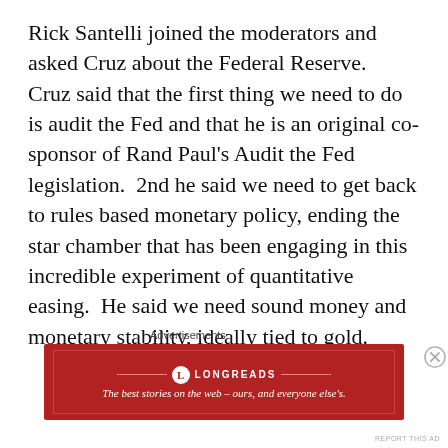Rick Santelli joined the moderators and asked Cruz about the Federal Reserve.  Cruz said that the first thing we need to do is audit the Fed and that he is an original co-sponsor of Rand Paul's Audit the Fed legislation.  2nd he said we need to get back to rules based monetary policy, ending the star chamber that has been engaging in this incredible experiment of quantitative easing.  He said we need sound money and monetary stability, ideally tied to gold.
Advertisements
[Figure (other): Longreads advertisement banner: red background with logo circle containing L, horizontal lines, LONGREADS branding, tagline 'The best stories on the web — ours, and everyone else's.']